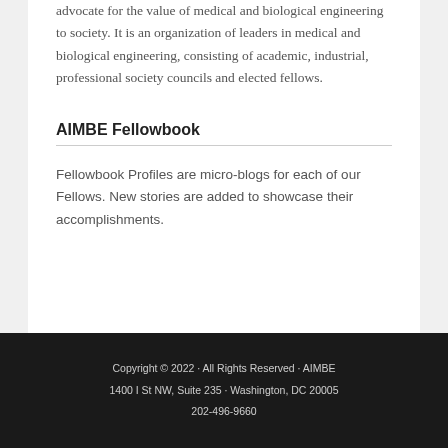advocate for the value of medical and biological engineering to society. It is an organization of leaders in medical and biological engineering, consisting of academic, industrial, professional society councils and elected fellows.
AIMBE Fellowbook
Fellowbook Profiles are micro-blogs for each of our Fellows. New stories are added to showcase their accomplishments.
Copyright © 2022 · All Rights Reserved · AIMBE
1400 I St NW, Suite 235 · Washington, DC 20005
202-496-9660